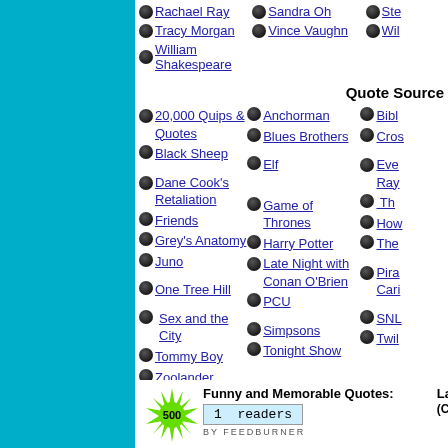Rachael Ray
Sandra Oh
Tracy Morgan
Vince Vaughn
William Shakespeare
Quote Source
20,000 Quips & Quotes
Anchorman
Black Sheep
Blues Brothers
Dane Cook's Retaliation
Elf
Friends
Game of Thrones
Grey's Anatomy
Harry Potter
Juno
Late Night with Conan O'Brien
One Tree Hill
PCU
Sex and the City
Simpsons
Tommy Boy
Tonight Show
Zoolander
Funny and Memorable Quotes: 1 readers BY FEEDBURNER